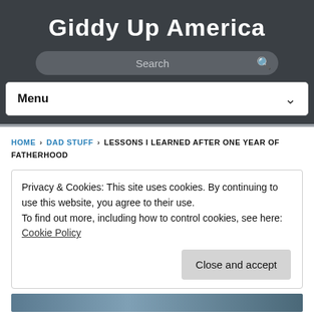Giddy Up America
Search
Menu
HOME › DAD STUFF › LESSONS I LEARNED AFTER ONE YEAR OF FATHERHOOD
Privacy & Cookies: This site uses cookies. By continuing to use this website, you agree to their use.
To find out more, including how to control cookies, see here: Cookie Policy
Close and accept
[Figure (photo): Bottom image strip showing partial outdoor scene]